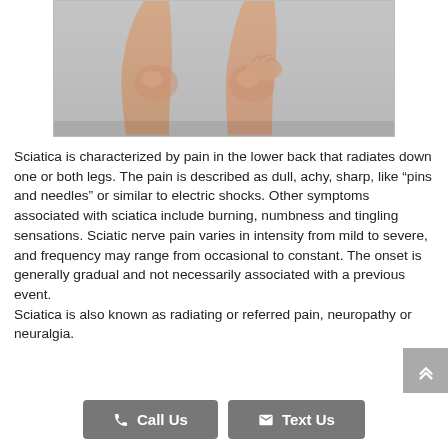[Figure (photo): Photo of person's legs and knees against a gray background, cropped to show lower body from thighs down]
Sciatica is characterized by pain in the lower back that radiates down one or both legs. The pain is described as dull, achy, sharp, like “pins and needles” or similar to electric shocks. Other symptoms associated with sciatica include burning, numbness and tingling sensations. Sciatic nerve pain varies in intensity from mild to severe, and frequency may range from occasional to constant. The onset is generally gradual and not necessarily associated with a previous event.
Sciatica is also known as radiating or referred pain, neuropathy or neuralgia.